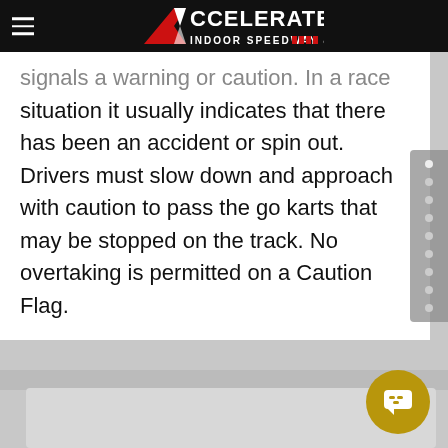Accelerate Indoor Speedway & Events
signals a warning or caution. In a race situation it usually indicates that there has been an accident or spin out. Drivers must slow down and approach with caution to pass the go karts that may be stopped on the track. No overtaking is permitted on a Caution Flag.
[Figure (logo): Accelerate Indoor Speedway & Events logo with red chevron/A shape and white text on black background]
[Figure (other): Gray sidebar navigation with circular dot indicators]
[Figure (other): Gold circular chat/message button in bottom right corner]